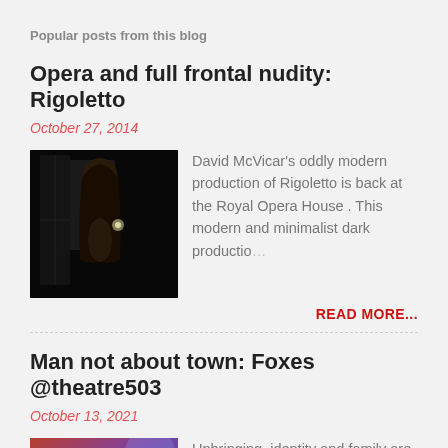Popular posts from this blog
Opera and full frontal nudity: Rigoletto
October 27, 2014
[Figure (photo): Dark theatrical photo of a figure with long hair in a dimly lit scene]
David McVicar's oddly modern production of Rigoletto is back at the Royal Opera House . This modern and minimalist dark productio…
READ MORE...
Man not about town: Foxes @theatre503
October 13, 2021
[Figure (photo): Two people against a colorful blue/purple background]
Upbringing, identity and family are at the heart of Foxes , by Dexter Flanders, currently at